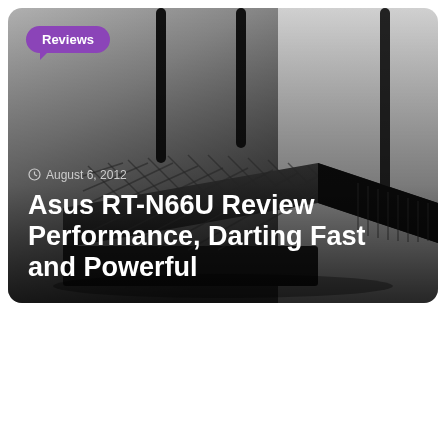[Figure (photo): Black ASUS RT-N66U wireless router with three tall antennas, photographed against a gradient grey-to-white background, displayed as a card with rounded corners on a white page background.]
Reviews
August 6, 2012
Asus RT-N66U Review Performance, Darting Fast and Powerful